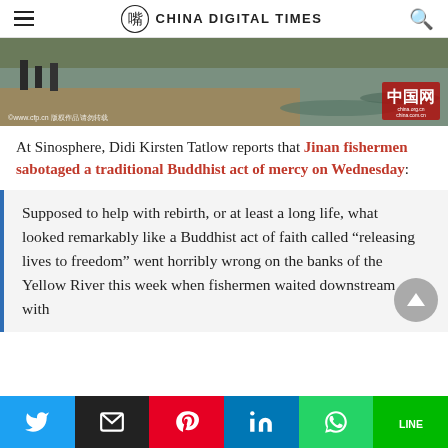CHINA DIGITAL TIMES
[Figure (photo): Hero image showing people on the banks of the Yellow River with water and shoreline, with a watermark 'www.cfp.cn' and a red China.com.cn badge in the corner.]
At Sinosphere, Didi Kirsten Tatlow reports that Jinan fishermen sabotaged a traditional Buddhist act of mercy on Wednesday:
Supposed to help with rebirth, or at least a long life, what looked remarkably like a Buddhist act of faith called “releasing lives to freedom” went horribly wrong on the banks of the Yellow River this week when fishermen waited downstream with